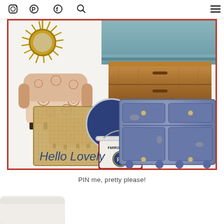Social media icons (Instagram, Pinterest, Facebook, Search) and hamburger menu
[Figure (photo): Interior design mood board with orange border containing: starburst/sunburst rattan mirror (top left), blue-grey upholstered fabric/sofa (top right), patterned armchair with ottoman in rust/cream medallion fabric (left), wooden coffee table with drawers (top right), jute/sisal rug (bottom center-left), Farrow & Ball paint can with navy blue paint swatch (center), rustic distressed blue sideboard/buffet (right), and 'Hello Lovely' italic text in navy]
PIN me, pretty please!